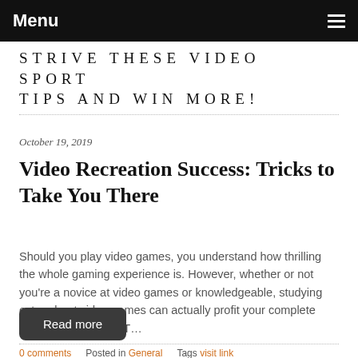Menu
STRIVE THESE VIDEO SPORT TIPS AND WIN MORE!
October 19, 2019
Video Recreation Success: Tricks to Take You There
Should you play video games, you understand how thrilling the whole gaming experience is. However, whether or not you're a novice at video games or knowledgeable, studying extra about video games can actually profit your complete gaming experience. T…
Read more
0 comments   Posted in General   Tags visit link